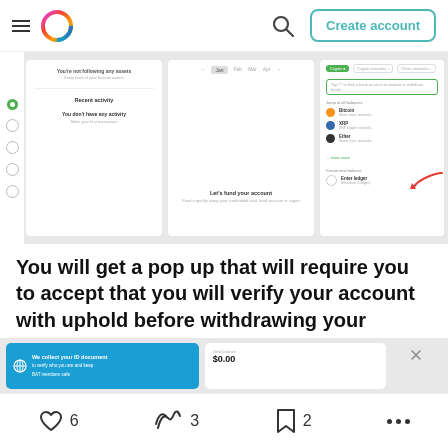Create account
[Figure (screenshot): Three-panel screenshot of Uphold app interface showing asset tracking, fund account prompt, and account linking with Bitcoin, XRP, Ether options and a red arrow pointing to a new account entry.]
You will get a pop up that will require you to accept that you will verify your account with uphold before withdrawing your earnings.
Click on Accept.
[Figure (screenshot): Partial screenshot showing a blue panel with globe icon for ID document verification, a total balance panel showing $0.00, and a close button.]
6  3  2  ...